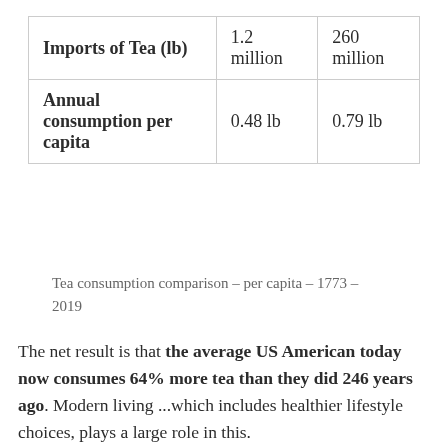|  | 1773 | 2019 |
| --- | --- | --- |
| Imports of Tea (lb) | 1.2 million | 260 million |
| Annual consumption per capita | 0.48 lb | 0.79 lb |
Tea consumption comparison – per capita – 1773 – 2019
The net result is that the average US American today now consumes 64% more tea than they did 246 years ago. Modern living ...which includes healthier lifestyle choices, plays a large role in this.